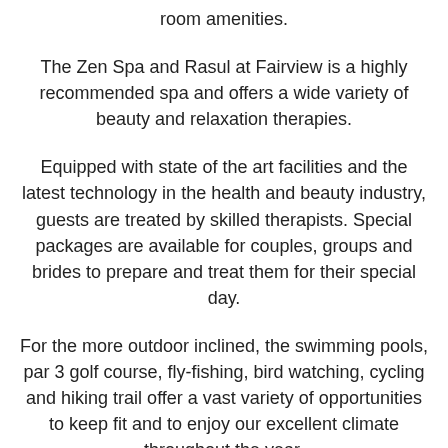room amenities.
The Zen Spa and Rasul at Fairview is a highly recommended spa and offers a wide variety of beauty and relaxation therapies.
Equipped with state of the art facilities and the latest technology in the health and beauty industry, guests are treated by skilled therapists. Special packages are available for couples, groups and brides to prepare and treat them for their special day.
For the more outdoor inclined, the swimming pools, par 3 golf course, fly-fishing, bird watching, cycling and hiking trail offer a vast variety of opportunities to keep fit and to enjoy our excellent climate throughout the year.
Set within lush gardens on a 26 ha estate, the tastefully decorated accommodation consists of 8 hotel rooms, 14